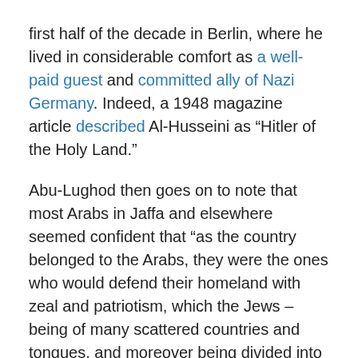first half of the decade in Berlin, where he lived in considerable comfort as a well-paid guest and committed ally of Nazi Germany. Indeed, a 1948 magazine article described Al-Husseini as “Hitler of the Holy Land.”
Abu-Lughod then goes on to note that most Arabs in Jaffa and elsewhere seemed confident that “as the country belonged to the Arabs, they were the ones who would defend their homeland with zeal and patriotism, which the Jews – being of many scattered countries and tongues, and moreover being divided into Ashkenazi and Sephardic – would inevitably lack. In short, there was a belief that the Jews were generally cowards.”
When this belief proved mistaken, people started to leave Jaffa. According to Abu-Lughod, at first mainly the rich left, but as more and more people began to flee the fighting,